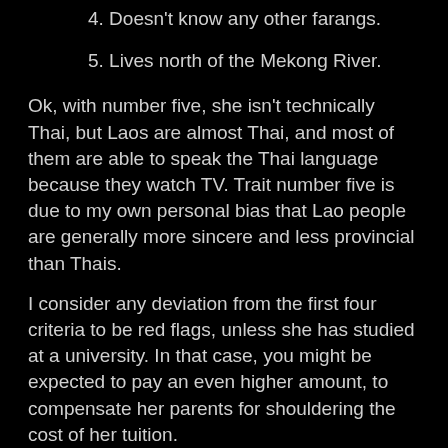4. Doesn't know any other farangs.
5. Lives north of the Mekong River.
Ok, with number five, she isn't technically Thai, but Laos are almost Thai, and most of them are able to speak the Thai language because they watch TV. Trait number five is due to my own personal bias that Lao people are generally more sincere and less provincial than Thais.
I consider any deviation from the first four criteria to be red flags, unless she has studied at a university. In that case, you might be expected to pay an even higher amount, to compensate her parents for shouldering the cost of her tuition.